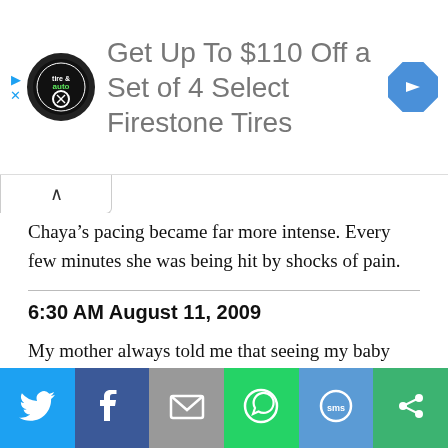[Figure (infographic): Advertisement banner: tire and auto logo circle, text 'Get Up To $110 Off a Set of 4 Select Firestone Tires', blue diamond arrow icon on right]
Chaya’s pacing became far more intense. Every few minutes she was being hit by shocks of pain.
6:30 AM August 11, 2009
My mother always told me that seeing my baby would have a profound effect on me. “Men don’t feel a real attraction to their baby until they see it.”
[Figure (infographic): Social sharing bar with Twitter, Facebook, Email, WhatsApp, SMS, and other share buttons]